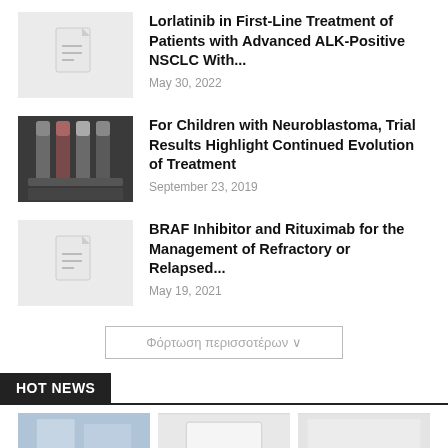Lorlatinib in First-Line Treatment of Patients with Advanced ALK-Positive NSCLC With...
May 30, 2022
[Figure (photo): Medical lab tubes/vials with dark background]
For Children with Neuroblastoma, Trial Results Highlight Continued Evolution of Treatment
September 23, 2019
BRAF Inhibitor and Rituximab for the Management of Refractory or Relapsed...
May 19, 2021
Φόρτωση περισσοτέρων ∨
HOT NEWS
[Figure (photo): Bottom thumbnail images partially visible]